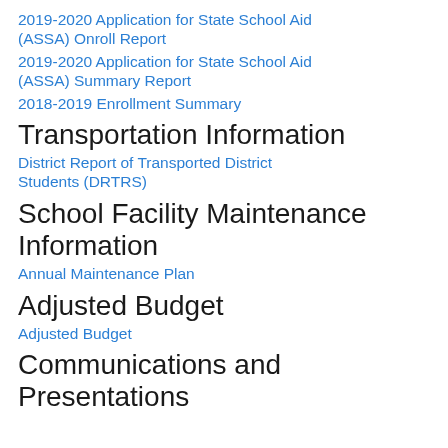2019-2020 Application for State School Aid (ASSA) Onroll Report
2019-2020 Application for State School Aid (ASSA) Summary Report
2018-2019 Enrollment Summary
Transportation Information
District Report of Transported District Students (DRTRS)
School Facility Maintenance Information
Annual Maintenance Plan
Adjusted Budget
Adjusted Budget
Communications and Presentations